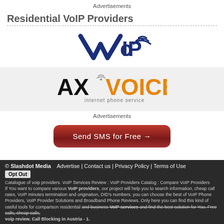Advertisements
Residential VoIP Providers
[Figure (logo): VoIPo logo in blue with wireless signal icon]
[Figure (logo): AXVoice logo with orange VOICE text and 'internet phone service' tagline on grey background]
Advertisements
[Figure (other): Red rounded button with text: Send SMS for Free →]
© Slashdot Media   Advertise | Contact us | Privacy Policy | Terms of Use  Opt Out  Catalogue of voip providers. VoIP Services Review : VoIP Providers Catalog : Compare VoIP Providers If You want to compare various VoIP providers, our project will help you to search information, cheap call rates, VoIP minutes termination and origination, DID's numbers. you can choose the best of VoIP Phone Providers, VoIP Provider Solutions and Broadband Phone Reviews. Only here you can find this kind of useful tools for comparison residential and business VoIP services and find the best solution for You. Free calls, cheap calls, voip review. Call Blocking in Austria - 1.